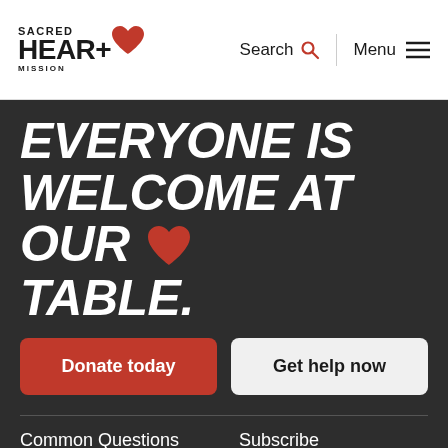[Figure (logo): Sacred Heart Mission logo with red heart icon and cross]
Search
Menu
EVERYONE IS WELCOME AT OUR ❤ TABLE.
Donate today
Get help now
Common Questions
Subscribe
Contact us